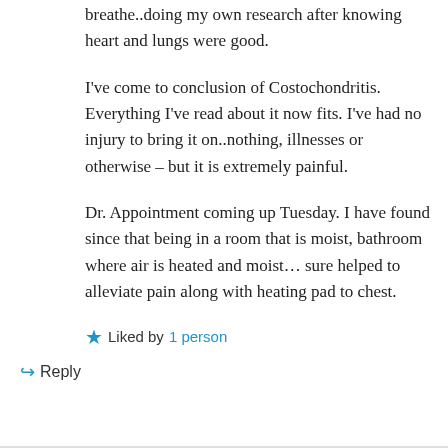breathe..doing my own research after knowing heart and lungs were good.
I've come to conclusion of Costochondritis. Everything I've read about it now fits. I've had no injury to bring it on..nothing, illnesses or otherwise – but it is extremely painful.
Dr. Appointment coming up Tuesday. I have found since that being in a room that is moist, bathroom where air is heated and moist… sure helped to alleviate pain along with heating pad to chest.
★ Liked by 1 person
↪ Reply